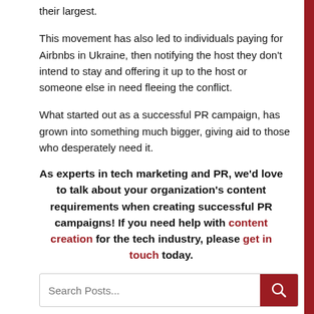their largest.
This movement has also led to individuals paying for Airbnbs in Ukraine, then notifying the host they don't intend to stay and offering it up to the host or someone else in need fleeing the conflict.
What started out as a successful PR campaign, has grown into something much bigger, giving aid to those who desperately need it.
As experts in tech marketing and PR, we'd love to talk about your organization's content requirements when creating successful PR campaigns! If you need help with content creation for the tech industry, please get in touch today.